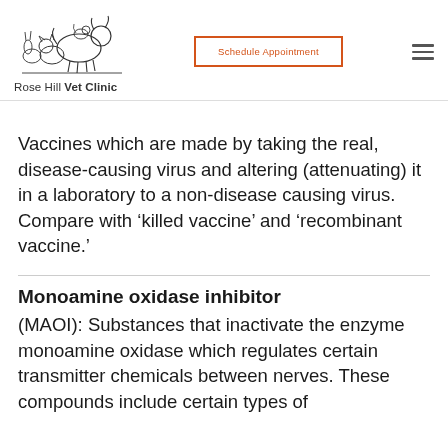[Figure (logo): Rose Hill Vet Clinic logo with line drawing of dog, cat, rabbit and bird grouped together, with text 'Rose Hill Vet Clinic' below]
Vaccines which are made by taking the real, disease-causing virus and altering (attenuating) it in a laboratory to a non-disease causing virus. Compare with ‘killed vaccine’ and ‘recombinant vaccine.’
Monoamine oxidase inhibitor
(MAOI): Substances that inactivate the enzyme monoamine oxidase which regulates certain transmitter chemicals between nerves. These compounds include certain types of